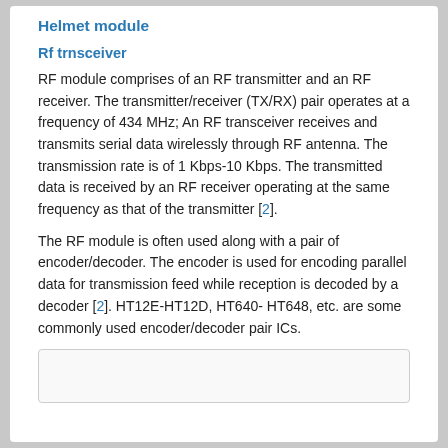Helmet module
Rf trnsceiver
RF module comprises of an RF transmitter and an RF receiver. The transmitter/receiver (TX/RX) pair operates at a frequency of 434 MHz; An RF transceiver receives and transmits serial data wirelessly through RF antenna. The transmission rate is of 1 Kbps-10 Kbps. The transmitted data is received by an RF receiver operating at the same frequency as that of the transmitter [2].
The RF module is often used along with a pair of encoder/decoder. The encoder is used for encoding parallel data for transmission feed while reception is decoded by a decoder [2]. HT12E-HT12D, HT640- HT648, etc. are some commonly used encoder/decoder pair ICs.
[Figure (other): Bottom image box, partially visible]